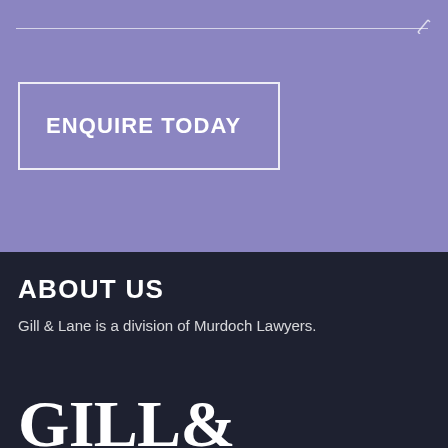[Figure (other): Purple/lavender background section with a horizontal divider line and pencil icon near the top, and an 'ENQUIRE TODAY' button with white border]
ENQUIRE TODAY
ABOUT US
Gill & Lane is a division of Murdoch Lawyers.
GILL&